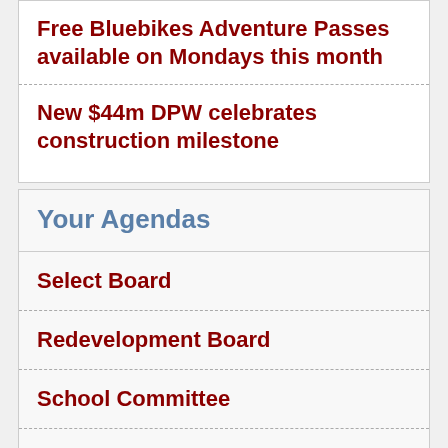Free Bluebikes Adventure Passes available on Mondays this month
New $44m DPW celebrates construction milestone
Your Agendas
Select Board
Redevelopment Board
School Committee
Zoning Board